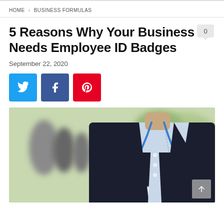HOME > BUSINESS FORMULAS
5 Reasons Why Your Business Needs Employee ID Badges
September 22, 2020
[Figure (illustration): Three social sharing buttons: Twitter (blue), Facebook (dark blue), Pinterest (red) with respective icons]
[Figure (photo): A man in a dark suit wearing a blue lanyard with an ID badge, blurred office background with people]